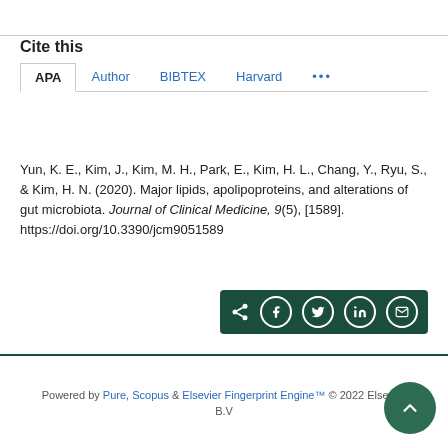Cite this
APA | Author | BIBTEX | Harvard | ...
Yun, K. E., Kim, J., Kim, M. H., Park, E., Kim, H. L., Chang, Y., Ryu, S., & Kim, H. N. (2020). Major lipids, apolipoproteins, and alterations of gut microbiota. Journal of Clinical Medicine, 9(5), [1589]. https://doi.org/10.3390/jcm9051589
Powered by Pure, Scopus & Elsevier Fingerprint Engine™ © 2022 Elsevier B.V